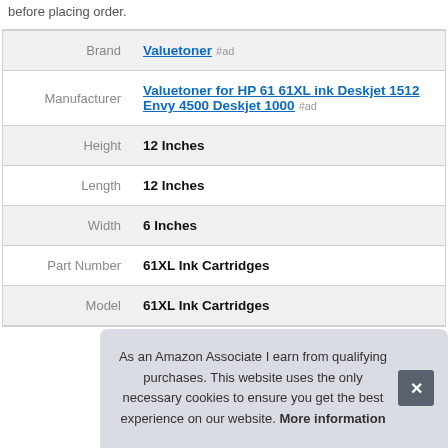before placing order.
| Label | Value |
| --- | --- |
| Brand | Valuetoner #ad |
| Manufacturer | Valuetoner for HP 61 61XL ink Deskjet 1512 Envy 4500 Deskjet 1000 #ad |
| Height | 12 Inches |
| Length | 12 Inches |
| Width | 6 Inches |
| Part Number | 61XL Ink Cartridges |
| Model | 61XL Ink Cartridges |
As an Amazon Associate I earn from qualifying purchases. This website uses the only necessary cookies to ensure you get the best experience on our website. More information